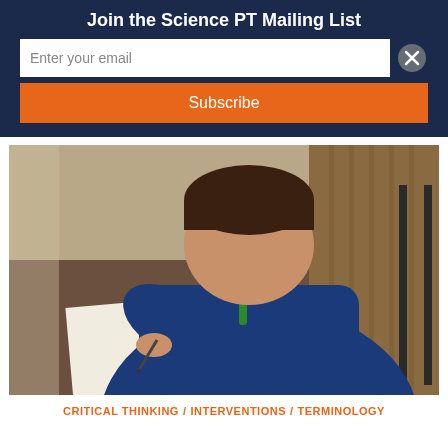Join the Science PT Mailing List
Enter your email
Subscribe
[Figure (photo): A young boy wearing a blue hoodie leaning over a table and writing on paper with a pen]
CRITICAL THINKING / INTERVENTIONS / TERMINOLOGY